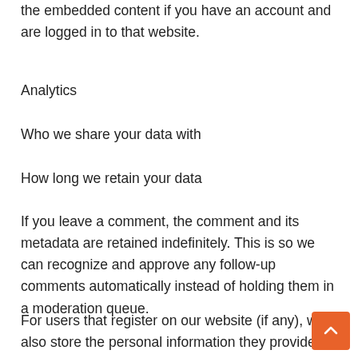the embedded content if you have an account and are logged in to that website.
Analytics
Who we share your data with
How long we retain your data
If you leave a comment, the comment and its metadata are retained indefinitely. This is so we can recognize and approve any follow-up comments automatically instead of holding them in a moderation queue.
For users that register on our website (if any), we also store the personal information they provide in their user profile. All users can see, edit, or